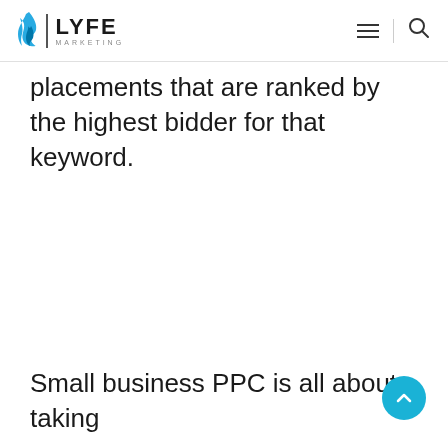LYFE MARKETING
placements that are ranked by the highest bidder for that keyword.
Small business PPC is all about taking